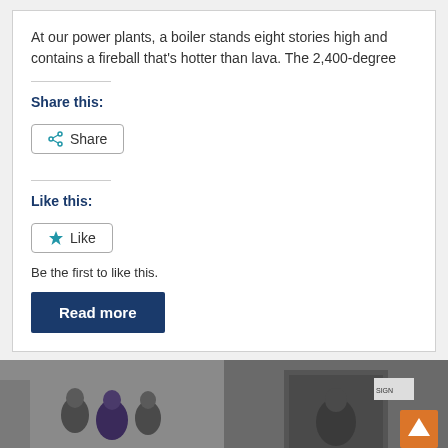At our power plants, a boiler stands eight stories high and contains a fireball that's hotter than lava. The 2,400-degree
Share this:
Like this:
Be the first to like this.
Read more
[Figure (photo): Group of people photographed outdoors near a building entrance]